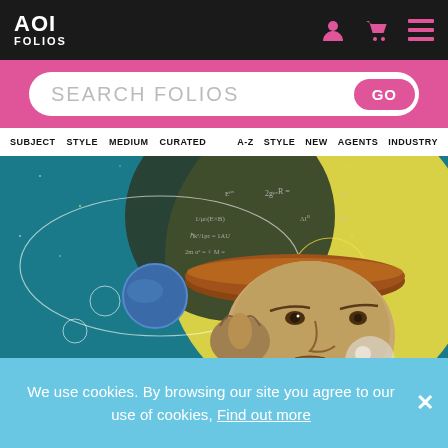AOI FOLIOS
SEARCH FOLIOS GO
SUBJECT  STYLE  MEDIUM  CURATED  A-Z  STYLE  NEW  AGENTS  INDUSTRY
[Figure (illustration): Surreal digital collage of an older man (Einstein-like figure) with the top of his head open like a lid, revealing a chalkboard full of physics and math equations. Background has large overlapping circles in yellow, dark teal/green, and teal, with a blue planet/sphere orbiting. Space-themed background with stars and a cosmic feel.]
We use cookies. By browsing our site you agree to our use of cookies, Find out more